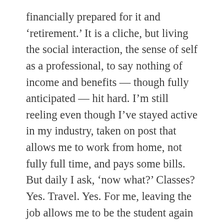financially prepared for it and ‘retirement.’ It is a cliche, but living the social interaction, the sense of self as a professional, to say nothing of income and benefits — though fully anticipated — hit hard. I’m still reeling even though I’ve stayed active in my industry, taken on post that allows me to work from home, not fully full time, and pays some bills. But daily I ask, ‘now what?’ Classes? Yes. Travel. Yes. For me, leaving the job allows me to be the student again to feel the excitement, and yes fear, of starting something new. Maybe being such a student will stave off some of the aging process. I emphasis it is a process and the loss of a job, status and benefits that go with it, is not easy no matter how prepared you are. And while it would be great to have a new purpose — get a Phd, write, start a fun business — it’s hard to connive that after working